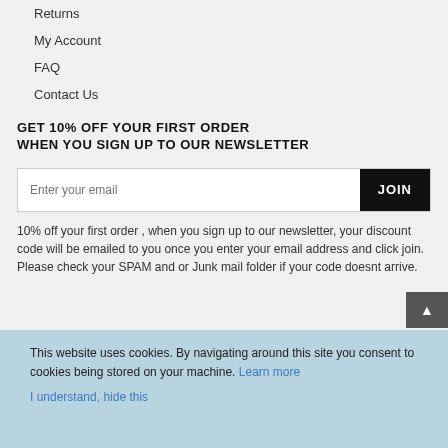Returns
My Account
FAQ
Contact Us
GET 10% OFF YOUR FIRST ORDER WHEN YOU SIGN UP TO OUR NEWSLETTER
Enter your email
10% off your first order , when you sign up to our newsletter, your discount code will be emailed to you once you enter your email address and click join. Please check your SPAM and or Junk mail folder if your code doesnt arrive.
This website uses cookies. By navigating around this site you consent to cookies being stored on your machine. Learn more
I understand, hide this